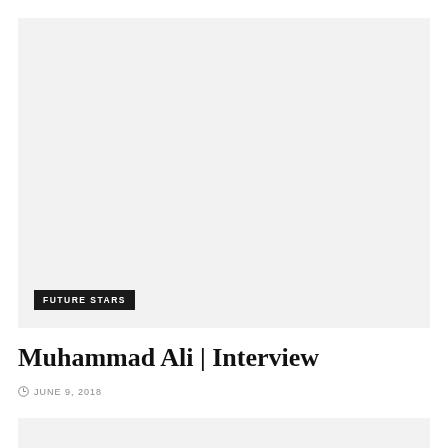[Figure (photo): Large light grey placeholder image box at the top of the page with a 'FUTURE STARS' category label overlay in the bottom-left corner]
Muhammad Ali | Interview
JUNE 9, 2018
[Figure (photo): Small light grey placeholder image box at the bottom of the page, partially visible]